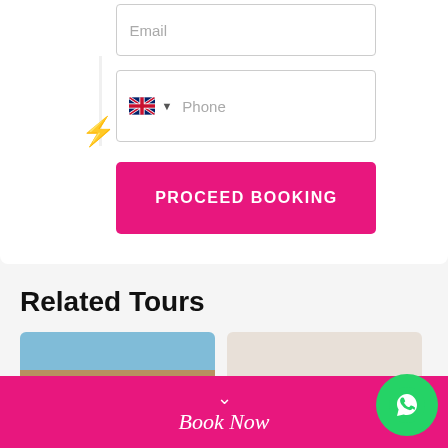[Figure (screenshot): Email input field with placeholder text 'Email']
[Figure (screenshot): Phone input field with UK flag dropdown and placeholder text 'Phone']
[Figure (screenshot): Pink 'PROCEED BOOKING' button with magenta background]
Related Tours
[Figure (photo): Thumbnail of rocky/stone ruins against blue sky]
[Figure (photo): Thumbnail of light-colored landscape/desert scene]
[Figure (screenshot): Magenta footer bar with chevron down icon and 'Book Now' text in italic]
[Figure (screenshot): Green WhatsApp circular button with WhatsApp icon]